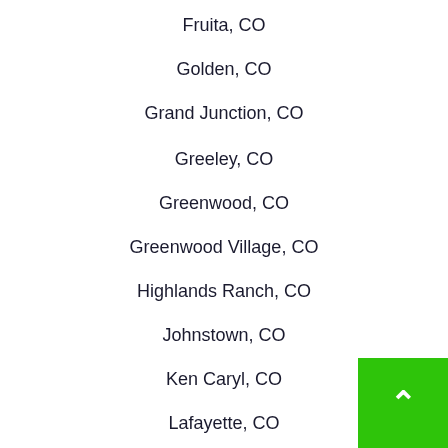Fruita, CO
Golden, CO
Grand Junction, CO
Greeley, CO
Greenwood, CO
Greenwood Village, CO
Highlands Ranch, CO
Johnstown, CO
Ken Caryl, CO
Lafayette, CO